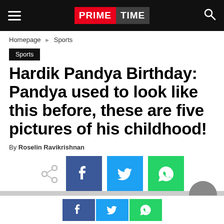PRIME TIME
Homepage › Sports
Sports
Hardik Pandya Birthday: Pandya used to look like this before, these are five pictures of his childhood!
By Roselin Ravikrishnan
[Figure (infographic): Share icons: generic share, Facebook (blue), Twitter (light blue), WhatsApp (green)]
[Figure (infographic): Bottom bar with Facebook, Twitter, and WhatsApp share buttons]